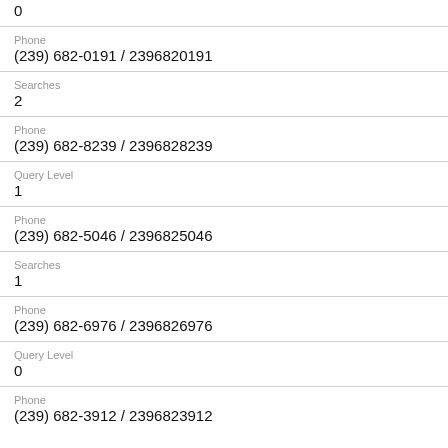0
Phone
(239) 682-0191 / 2396820191
Searches
2
Phone
(239) 682-8239 / 2396828239
Query Level
1
Phone
(239) 682-5046 / 2396825046
Searches
1
Phone
(239) 682-6976 / 2396826976
Query Level
0
Phone
(239) 682-3912 / 2396823912